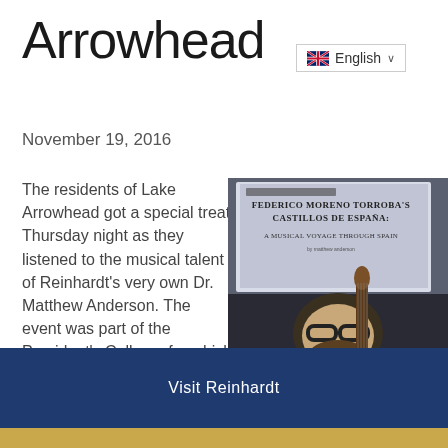Arrowhead
[Figure (other): UK flag icon with English language selector dropdown]
November 19, 2016
The residents of Lake Arrowhead got a special treat Thursday night as they listened to the musical talent of Reinhardt's very own Dr. Matthew Anderson. The event was part of the President's College, for which Reinhardt faculty have been
[Figure (photo): Man with glasses and beard playing a guitar/lute instrument in front of a projection screen showing 'Federico Moreno Torroba's Castillos de España: A Musical Voyage Through Spain']
Visit Reinhardt